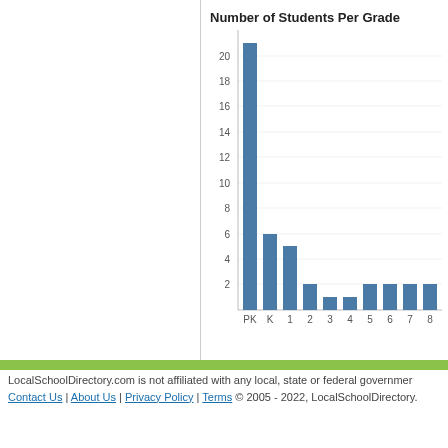[Figure (bar-chart): Number of Students Per Grade]
LocalSchoolDirectory.com is not affiliated with any local, state or federal government. Contact Us | About Us | Privacy Policy | Terms © 2005 - 2022, LocalSchoolDirectory.